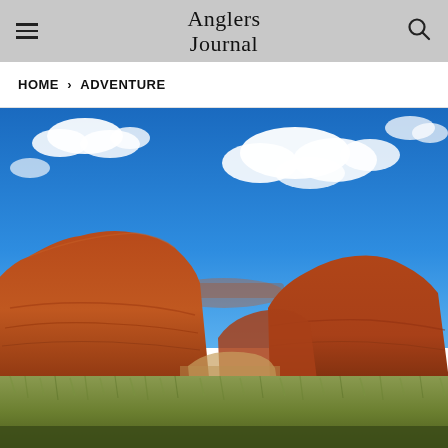Anglers Journal
HOME > ADVENTURE
[Figure (photo): Landscape photo of red sandstone canyon buttes under a bright blue sky with white clouds, with green grassland in the foreground.]